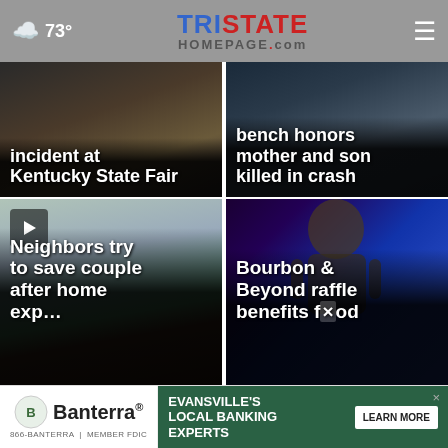73° TRISTATE HOMEPAGE.com
[Figure (screenshot): News card: incident at Kentucky State Fair — dark background with person image]
incident at Kentucky State Fair
[Figure (screenshot): News card: bench honors mother and son killed in crash — dark background]
bench honors mother and son killed in crash
[Figure (photo): News card with play button: Neighbors try to save couple after home explosion — debris/fire scene]
Neighbors try to save couple after home exp…
[Figure (photo): News card: Bourbon & Beyond raffle benefits food — musician with guitar on stage blue lighting]
Bourbon & Beyond raffle benefits f…od
[Figure (screenshot): Advertisement banner: Banterra bank — Evansville's Local Banking Experts — Learn More button]